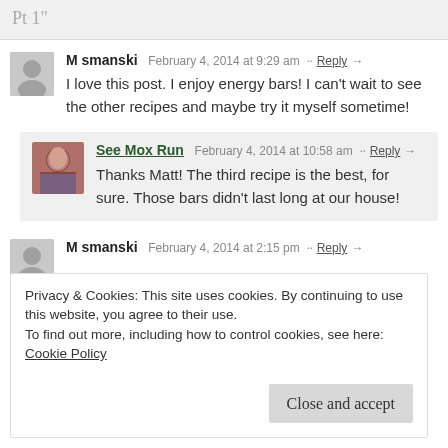Pt 1"
M smanski   February 4, 2014 at 9:29 am · · Reply →
I love this post. I enjoy energy bars! I can't wait to see the other recipes and maybe try it myself sometime!
See Mox Run   February 4, 2014 at 10:58 am · · Reply →
Thanks Matt! The third recipe is the best, for sure. Those bars didn't last long at our house!
M smanski   February 4, 2014 at 2:15 pm · · Reply →
Privacy & Cookies: This site uses cookies. By continuing to use this website, you agree to their use.
To find out more, including how to control cookies, see here:
Cookie Policy
Close and accept